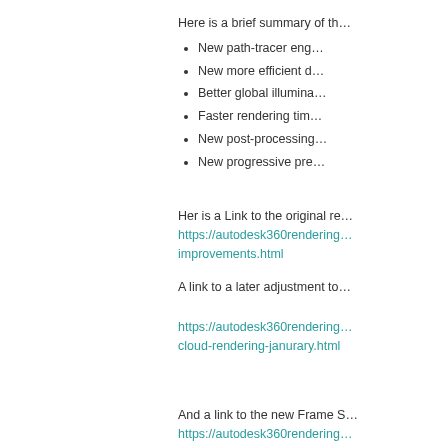Here is a brief summary of th…
New path-tracer eng…
New more efficient d…
Better global illumina…
Faster rendering tim…
New post-processing…
New progressive pre…
Her is a Link to the original re…
https://autodesk360rendering… improvements.html
A link to a later adjustment to…
https://autodesk360rendering… cloud-rendering-janurary.html
And a link to the new Frame S…
https://autodesk360rendering…